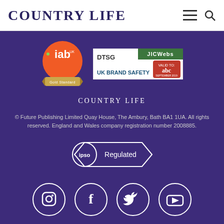COUNTRY LIFE
[Figure (logo): IAB UK Gold Standard badge (orange circle with iab lettering and gold ribbon)]
[Figure (logo): DTSG JICWebs UK Brand Safety badge with ABC valid to September 2019]
COUNTRY LIFE
© Future Publishing Limited Quay House, The Ambury, Bath BA1 1UA. All rights reserved. England and Wales company registration number 2008885.
[Figure (logo): IPSO Regulated badge]
[Figure (logo): Social media icons: Instagram, Facebook, Twitter, YouTube]